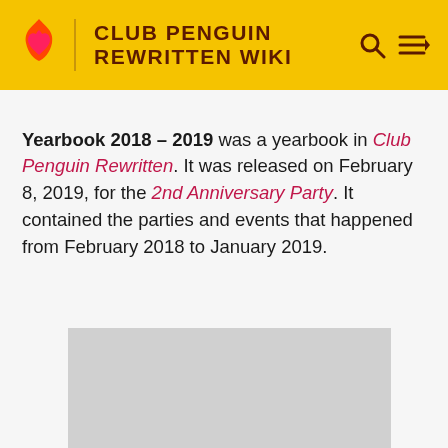CLUB PENGUIN REWRITTEN WIKI
Yearbook 2018 – 2019 was a yearbook in Club Penguin Rewritten. It was released on February 8, 2019, for the 2nd Anniversary Party. It contained the parties and events that happened from February 2018 to January 2019.
[Figure (photo): Gray placeholder rectangle representing an image of the Yearbook 2018–2019]